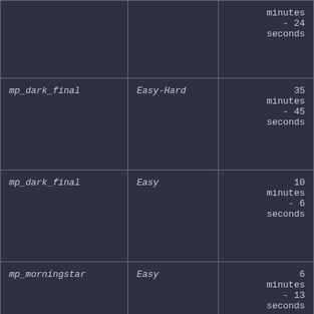|  |  | minutes - 24 seconds |
| mp_dark_final | Easy-Hard | 35 minutes - 45 seconds |
| mp_dark_final | Easy | 10 minutes - 6 seconds |
| mp_morningstar | Easy | 6 minutes - 13 seconds |